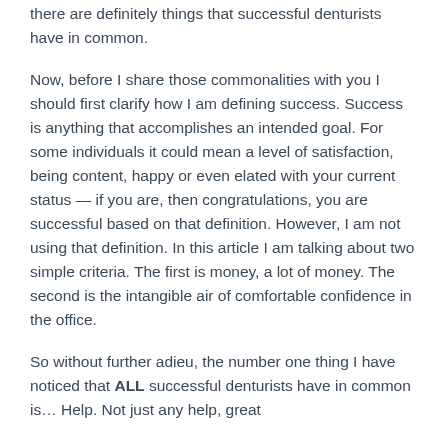there are definitely things that successful denturists have in common.
Now, before I share those commonalities with you I should first clarify how I am defining success. Success is anything that accomplishes an intended goal. For some individuals it could mean a level of satisfaction, being content, happy or even elated with your current status — if you are, then congratulations, you are successful based on that definition. However, I am not using that definition. In this article I am talking about two simple criteria. The first is money, a lot of money. The second is the intangible air of comfortable confidence in the office.
So without further adieu, the number one thing I have noticed that ALL successful denturists have in common is… Help. Not just any help, great